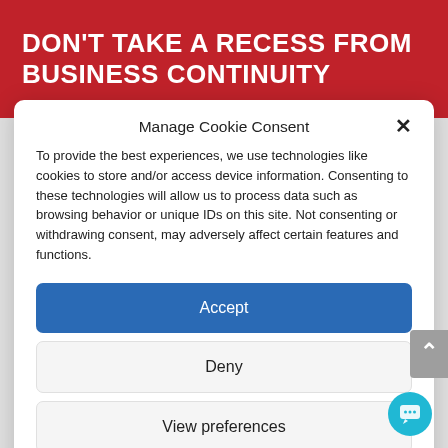DON'T TAKE A RECESS FROM BUSINESS CONTINUITY
Manage Cookie Consent
To provide the best experiences, we use technologies like cookies to store and/or access device information. Consenting to these technologies will allow us to process data such as browsing behavior or unique IDs on this site. Not consenting or withdrawing consent, may adversely affect certain features and functions.
Accept
Deny
View preferences
Cookie Policy  Privacy Policy